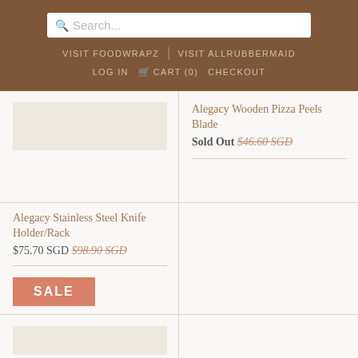Search... | VISIT FOODWRAPZ | VISIT ALLRUBBERMAID | LOG IN | CART (0) | CHECKOUT
Alegacy Wooden Pizza Peels Blade
Sold Out $46.60 SGD
Alegacy Stainless Steel Knife Holder/Rack
$75.70 SGD $98.90 SGD
SALE
Replacement Wire for Alegacy Aluminium Cheese Slicer With Adjustable Roller
$5.20 SGD $6.80 SGD